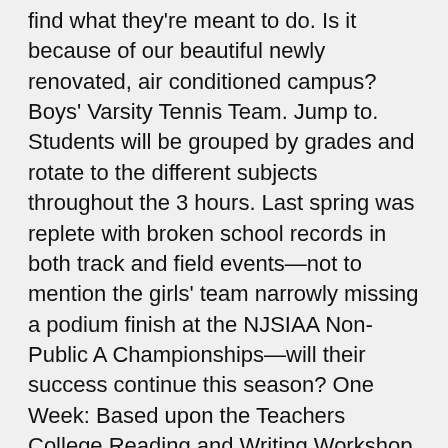find what they're meant to do. Is it because of our beautiful newly renovated, air conditioned campus? Boys' Varsity Tennis Team. Jump to. Students will be grouped by grades and rotate to the different subjects throughout the 3 hours. Last spring was replete with broken school records in both track and field events—not to mention the girls' team narrowly missing a podium finish at the NJSIAA Non-Public A Championships—will their success continue this season? One Week: Based upon the Teachers College Reading and Writing Workshop format, four weeks will be offered where young readers and writers will be able to develop their growing skills for reading and writing, learning about its power and purpose. Kindergarten - Grade 1 Date: The Gilbert H. Offerings range from full courses to enrichment classes, for students entering grades K Contact Summer Programs at Pingry on Messenger. I'm so grateful to have experienced it. Red Bull Soccer Camp Red Bull Soccer Camps' expert coaches focus on the introduction and mastery of skills in a fun learning environment. Students will